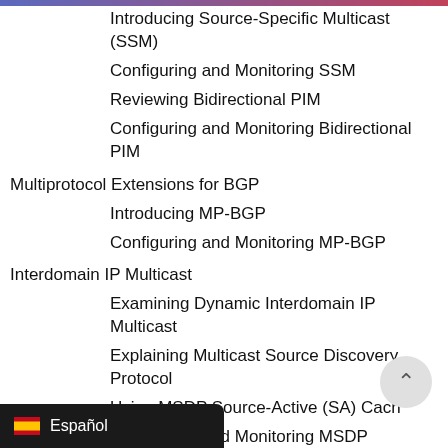Introducing Source-Specific Multicast (SSM)
Configuring and Monitoring SSM
Reviewing Bidirectional PIM
Configuring and Monitoring Bidirectional PIM
Multiprotocol Extensions for BGP
Introducing MP-BGP
Configuring and Monitoring MP-BGP
Interdomain IP Multicast
Examining Dynamic Interdomain IP Multicast
Explaining Multicast Source Discovery Protocol
Using MSDP Source-Active (SA) Cach
Configuring and Monitoring MSDP
ecurity